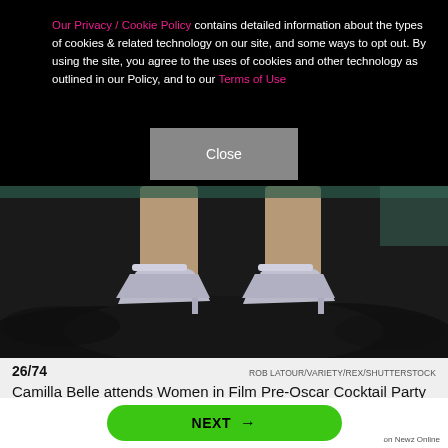Our Privacy / Cookie Policy contains detailed information about the types of cookies & related technology on our site, and some ways to opt out. By using the site, you agree to the uses of cookies and other technology as outlined in our Policy, and to our Terms of Use
Close
[Figure (photo): Close-up photo of a person's legs wearing silver high-heeled shoes with ankle straps, standing on a dark carpet/floor at an event.]
26/74    ROB LATOUR/VARIETY/REX/SHUTTERSTOCK
Camilla Belle attends Women in Film Pre-Oscar Cocktail Party in Los Angeles on March 2, 2018.
NEXT →
on Newz Online